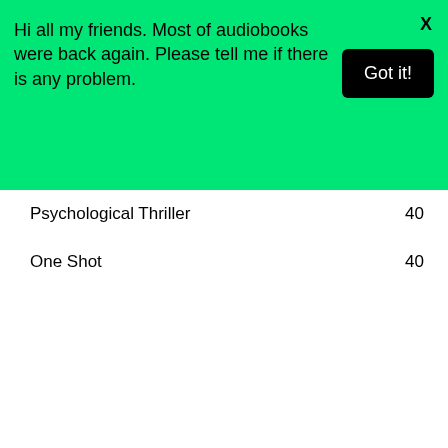Hi all my friends. Most of audiobooks were back again. Please tell me if there is any problem.
Got it!
Psychological Thriller    40
One Shot    40